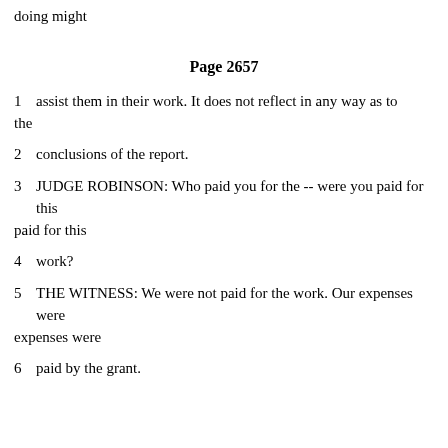doing might
Page 2657
1    assist them in their work.  It does not reflect in any way as to the
2    conclusions of the report.
3    JUDGE ROBINSON:  Who paid you for the -- were you paid for this
4    work?
5    THE WITNESS:  We were not paid for the work.  Our expenses were
6    paid by the grant.